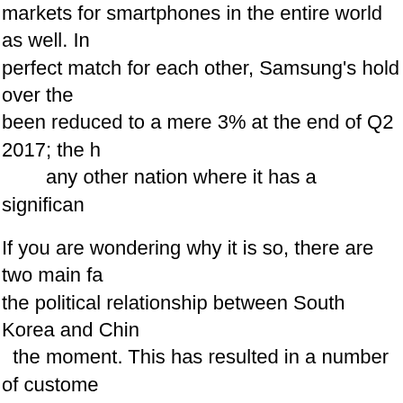markets for smartphones in the entire world as well. In perfect match for each other, Samsung's hold over the been reduced to a mere 3% at the end of Q2 2017; the h any other nation where it has a significant
If you are wondering why it is so, there are two main fa the political relationship between South Korea and Chin the moment. This has resulted in a number of custome products In favor of products from local manufacturer Huawei and the like. Secondly, the competition from th too steep for Samsung to match up with them under fact, Apple isn't doing too well in the country either as t market dropped from 8.5% to 8.2% in just a year. Nev company is still doing a lot better than Samsung, given from 7% to just 3% at the end of Q2 2017 in a quarter-on 2016.
Saikat Kar (tech-enthusiast)
Tags: samsung just had very bad quarter china huawei launc inch amoled display 600 mah battery safe samsung galaxy no